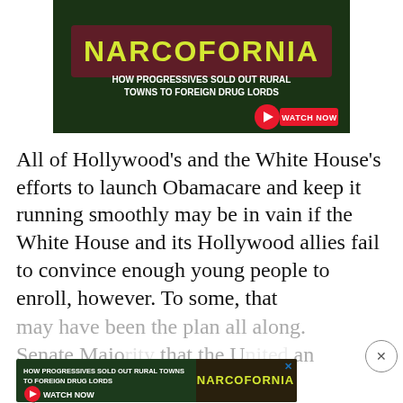[Figure (illustration): Advertisement banner for 'Narcofornia' documentary. Dark green cannabis background with yellow stylized text 'NARCOFORNIA' and subtitle 'HOW PROGRESSIVES SOLD OUT RURAL TOWNS TO FOREIGN DRUG LORDS' with a red WATCH NOW button.]
All of Hollywood's and the White House's efforts to launch Obamacare and keep it running smoothly may be in vain if the White House and its Hollywood allies fail to convince enough young people to enroll, however. To some, that may have been the plan all along. Senate Majority... that the U... an insurance-based system and Obamacare just...
[Figure (illustration): Second smaller advertisement for same 'Narcofornia' documentary at the bottom of the page with WATCH NOW button and close X.]